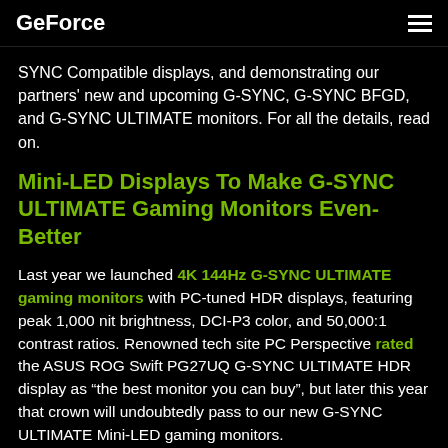GeForce
SYNC Compatible displays, and demonstrating our partners' new and upcoming G-SYNC, G-SYNC BFGD, and G-SYNC ULTIMATE monitors. For all the details, read on.
Mini-LED Displays To Make G-SYNC ULTIMATE Gaming Monitors Even-Better
Last year we launched 4K 144Hz G-SYNC ULTIMATE gaming monitors with PC-tuned HDR displays, featuring peak 1,000 nit brightness, DCI-P3 color, and 50,000:1 contrast ratios. Renowned tech site PC Perspective rated the ASUS ROG Swift PG27UQ G-SYNC ULTIMATE HDR display as “the best monitor you can buy”, but later this year that crown will undoubtedly pass to our new G-SYNC ULTIMATE Mini-LED gaming monitors.